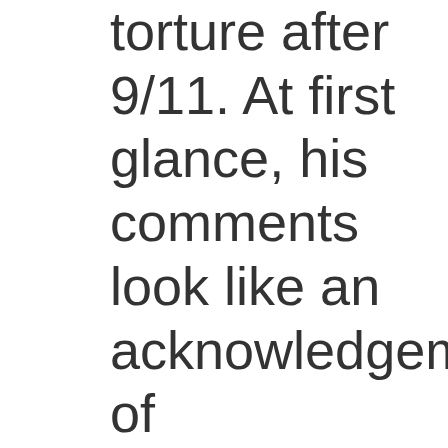torture after 9/11. At first glance, his comments look like an acknowledgement of wrongdoing. After all, Obama